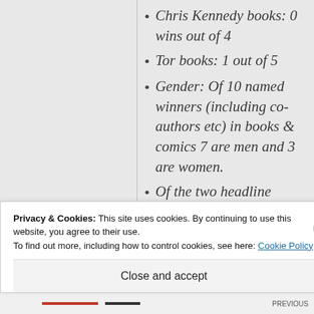Chris Kennedy books: 0 wins out of 4
Tor books: 1 out of 5
Gender: Of 10 named winners (including co-authors etc) in books & comics 7 are men and 3 are women.
Of the two headline categories of Best SF and
Privacy & Cookies: This site uses cookies. By continuing to use this website, you agree to their use.
To find out more, including how to control cookies, see here: Cookie Policy
Close and accept